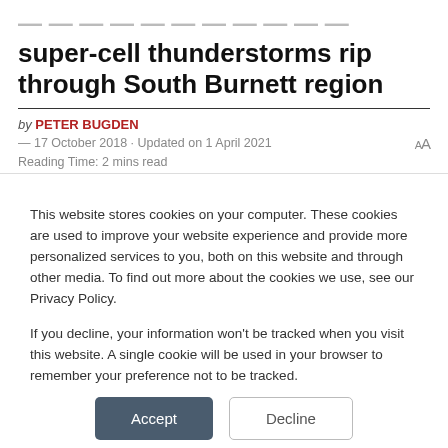super-cell thunderstorms rip through South Burnett region
by PETER BUGDEN — 17 October 2018 · Updated on 1 April 2021
Reading Time: 2 mins read
This website stores cookies on your computer. These cookies are used to improve your website experience and provide more personalized services to you, both on this website and through other media. To find out more about the cookies we use, see our Privacy Policy.

If you decline, your information won't be tracked when you visit this website. A single cookie will be used in your browser to remember your preference not to be tracked.